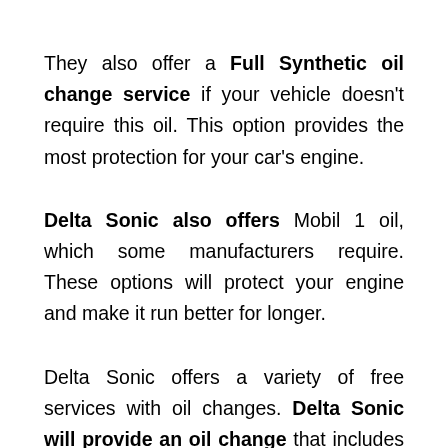They also offer a Full Synthetic oil change service if your vehicle doesn't require this oil. This option provides the most protection for your car's engine.
Delta Sonic also offers Mobil 1 oil, which some manufacturers require. These options will protect your engine and make it run better for longer.
Delta Sonic offers a variety of free services with oil changes. Delta Sonic will provide an oil change that includes a new oil filter and